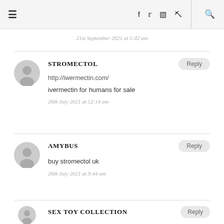≡  f  twitter  instagram  pinterest  🔍
21st September 2021 at 5:42 am
STROMECTOL
http://iwermectin.com/
ivermectin for humans for sale
26th July 2021 at 12:14 am
AMYBUS
buy stromectol uk
26th July 2021 at 9:44 am
SEX TOY COLLECTION